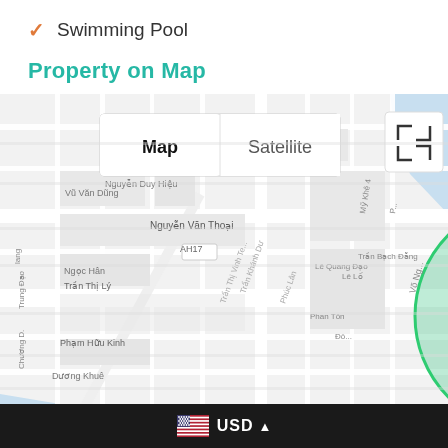✓ Swimming Pool
Property on Map
[Figure (map): Google Map view showing a neighborhood in Da Nang, Vietnam with street names in Vietnamese (Nguyễn Văn Thoại, Trần Thị Lý, Phạm Hữu Kinh, etc.) and a green highlighted circular area marking the property location. Map/Satellite toggle buttons visible at top left, fullscreen button at top right, reCAPTCHA widget and pegman at bottom right.]
USD ▲